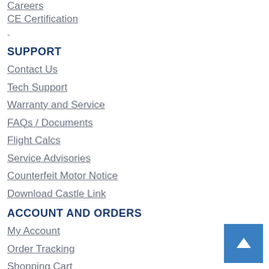Careers
CE Certification
-
SUPPORT
Contact Us
Tech Support
Warranty and Service
FAQs / Documents
Flight Calcs
Service Advisories
Counterfeit Motor Notice
Download Castle Link
ACCOUNT AND ORDERS
My Account
Order Tracking
Shopping Cart
Redeem a coupon
Privacy